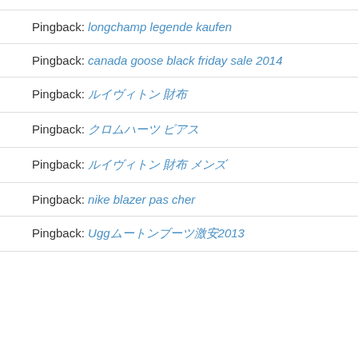Pingback: longchamp legende kaufen
Pingback: canada goose black friday sale 2014
Pingback: ルイヴィトン 財布
Pingback: クロムハーツ ピアス
Pingback: ルイヴィトン 財布 メンズ
Pingback: コーチ バッグ 新作
Pingback: nike blazer pas cher
Pingback: Uggムートンブーツ激安2013